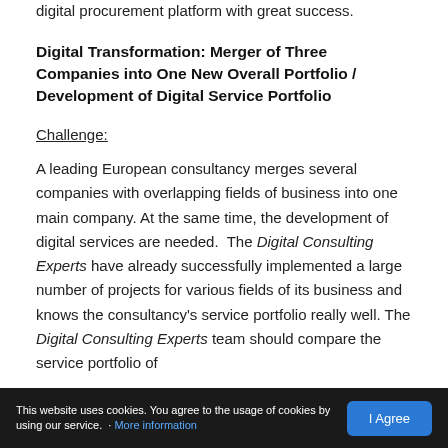digital procurement platform with great success.
Digital Transformation: Merger of Three Companies into One New Overall Portfolio / Development of Digital Service Portfolio
Challenge:
A leading European consultancy merges several companies with overlapping fields of business into one main company. At the same time, the development of digital services are needed.  The Digital Consulting Experts have already successfully implemented a large number of projects for various fields of its business and knows the consultancy's service portfolio really well. The Digital Consulting Experts team should compare the service portfolio of
This website uses cookies. You agree to the usage of cookies by using our service. · More information  |  I Agree